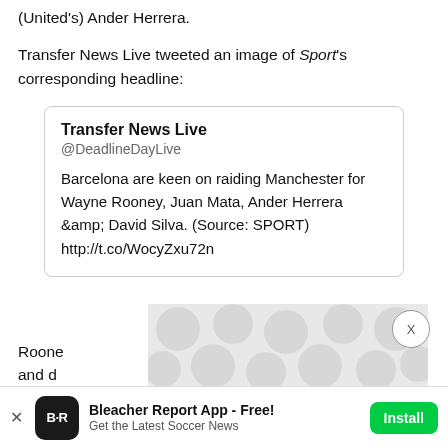(United's) Ander Herrera.
Transfer News Live tweeted an image of Sport's corresponding headline:
[Figure (screenshot): Embedded tweet from Transfer News Live (@DeadlineDayLive): 'Barcelona are keen on raiding Manchester for Wayne Rooney, Juan Mata, Ander Herrera &amp; David Silva. (Source: SPORT) http://t.co/WocyZxu72n']
Rooney ... ups and do ... as
[Figure (screenshot): Bleacher Report app advertisement banner at the bottom. Shows B/R logo, text 'Bleacher Report App - Free! Get the Latest Soccer News', and an Install button.]